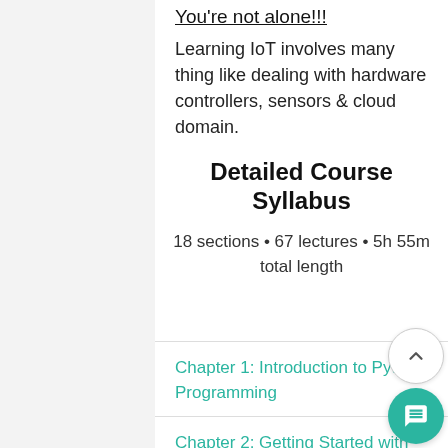You're not alone!!!
Learning IoT involves many thing like dealing with hardware controllers, sensors & cloud domain.
Detailed Course Syllabus
18 sections • 67 lectures • 5h 55m total length
Chapter 1: Introduction to Python Programming
Chapter 2: Getting Started with Python